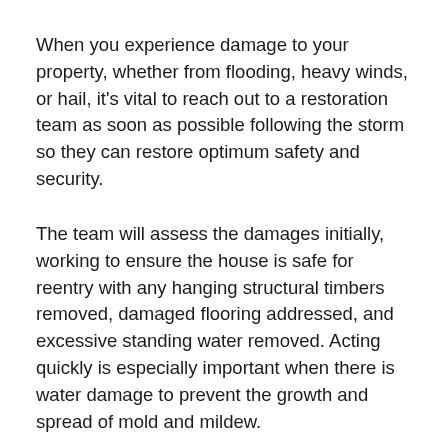When you experience damage to your property, whether from flooding, heavy winds, or hail, it's vital to reach out to a restoration team as soon as possible following the storm so they can restore optimum safety and security.
The team will assess the damages initially, working to ensure the house is safe for reentry with any hanging structural timbers removed, damaged flooring addressed, and excessive standing water removed. Acting quickly is especially important when there is water damage to prevent the growth and spread of mold and mildew.
That means reaching out to a restoration service as soon as emergency services give the okay for people to go back into the house. Find guidance for dealing with storm damage to your home at https://todayshomeowner.com/dealing-with-storm-damage...